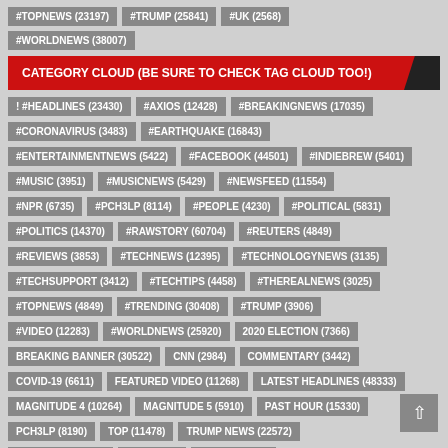#TOPNEWS (23197)
#TRUMP (25841)
#UK (2568)
#WORLDNEWS (38007)
CATEGORY CLOUD (BE SURE TO CHECK TAG CLOUD TOO!)
! #HEADLINES (23430)
#AXIOS (12428)
#BREAKINGNEWS (17035)
#CORONAVIRUS (3483)
#EARTHQUAKE (16843)
#ENTERTAINMENTNEWS (5422)
#FACEBOOK (44501)
#INDIEBREW (5401)
#MUSIC (3951)
#MUSICNEWS (5429)
#NEWSFEED (11554)
#NPR (6735)
#PCH3LP (8114)
#PEOPLE (4230)
#POLITICAL (5831)
#POLITICS (14370)
#RAWSTORY (60704)
#REUTERS (4849)
#REVIEWS (3853)
#TECHNEWS (12395)
#TECHNOLOGYNEWS (3135)
#TECHSUPPORT (3412)
#TECHTIPS (4458)
#THEREALNEWS (3025)
#TOPNEWS (4849)
#TRENDING (30408)
#TRUMP (3906)
#VIDEO (12283)
#WORLDNEWS (25920)
2020 ELECTION (7366)
BREAKING BANNER (30522)
CNN (2984)
COMMENTARY (3442)
COVID-19 (6611)
FEATURED VIDEO (11268)
LATEST HEADLINES (48333)
MAGNITUDE 4 (10264)
MAGNITUDE 5 (5910)
PAST HOUR (15330)
PCH3LP (8190)
TOP (11478)
TRUMP NEWS (22572)
U.S. NEWS (39886)
US (15982)
WORLD (6135)